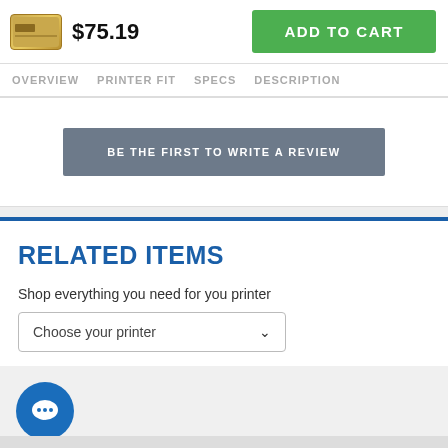$75.19
ADD TO CART
OVERVIEW   PRINTER FIT   SPECS   DESCRIPTION
BE THE FIRST TO WRITE A REVIEW
RELATED ITEMS
Shop everything you need for you printer
Choose your printer